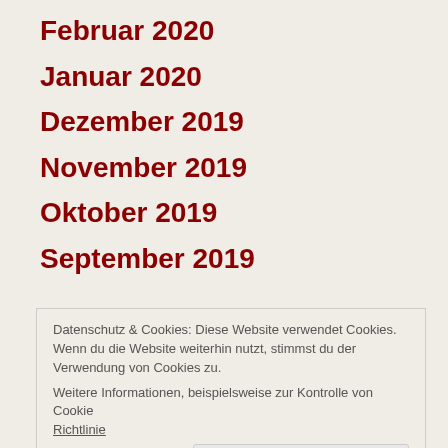Februar 2020
Januar 2020
Dezember 2019
November 2019
Oktober 2019
September 2019
Datenschutz & Cookies: Diese Website verwendet Cookies. Wenn du die Website weiterhin nutzt, stimmst du der Verwendung von Cookies zu.
Weitere Informationen, beispielsweise zur Kontrolle von Cookies
Richtlinie
Schließen und Akzeptieren
April 2019